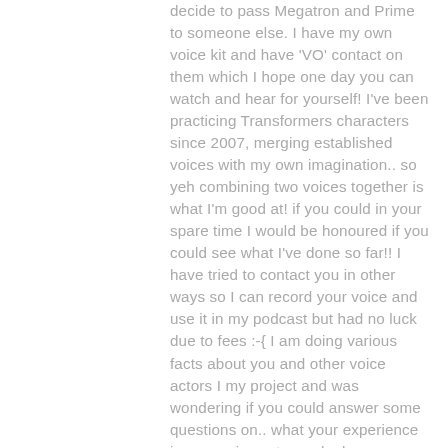decide to pass Megatron and Prime to someone else. I have my own voice kit and have 'VO' contact on them which I hope one day you can watch and hear for yourself! I've been practicing Transformers characters since 2007, merging established voices with my own imagination.. so yeh combining two voices together is what I'm good at! if you could in your spare time I would be honoured if you could see what I've done so far!! I have tried to contact you in other ways so I can record your voice and use it in my podcast but had no luck due to fees :-{ I am doing various facts about you and other voice actors I my project and was wondering if you could answer some questions on.. what your experience is as a voice actor and... how you start thinking how a voice for a specific character should sound? What is the basis of the